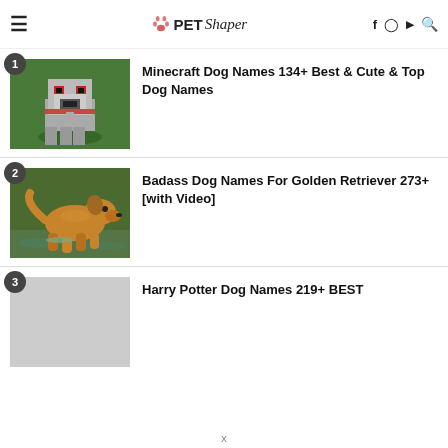PetShaper
Minecraft Dog Names 134+ Best & Cute & Top Dog Names
Badass Dog Names For Golden Retriever 273+ [with Video]
Harry Potter Dog Names 219+ BEST